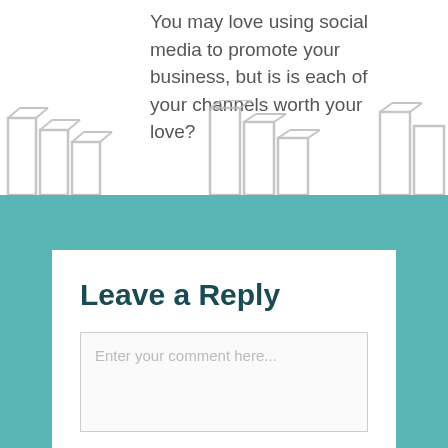You may love using social media to promote your business, but is is each of your channels worth your love?
[Figure (bar-chart): Partially visible decorative bar chart illustration with grey outlined bars, blurred/cropped]
Leave a Reply
Enter your comment here...